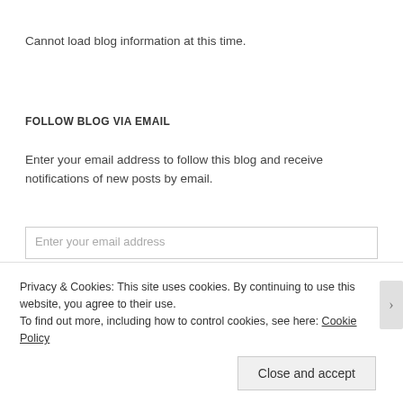Cannot load blog information at this time.
FOLLOW BLOG VIA EMAIL
Enter your email address to follow this blog and receive notifications of new posts by email.
Privacy & Cookies: This site uses cookies. By continuing to use this website, you agree to their use.
To find out more, including how to control cookies, see here: Cookie Policy
Close and accept